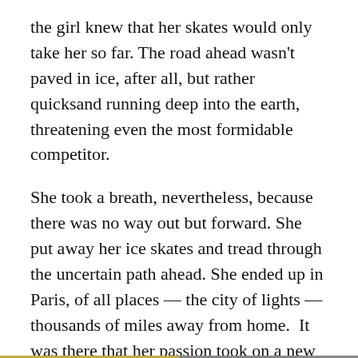the girl knew that her skates would only take her so far. The road ahead wasn't paved in ice, after all, but rather quicksand running deep into the earth, threatening even the most formidable competitor.
She took a breath, nevertheless, because there was no way out but forward. She put away her ice skates and tread through the uncertain path ahead. She ended up in Paris, of all places — the city of lights — thousands of miles away from home.  It was there that her passion took on a new meaning.
Back then, she was known as Vera Wang: the figure ice skater. Today, not only is she an iconic wedding dress designer. She's also a savvy businesswoman, philanthropist, and mother.